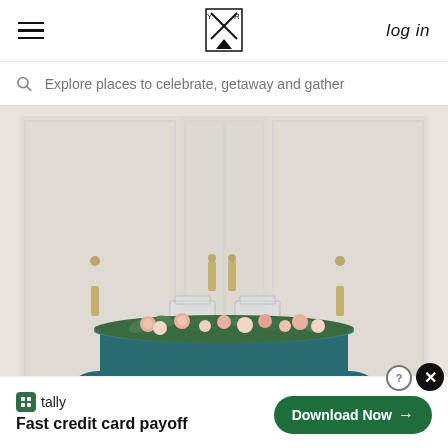☰  [logo]  log in
Explore places to celebrate, getaway and gather
[Figure (photo): A sweetheart table draped with a teal/dark green velvet tablecloth, adorned with a lush floral garland of pink roses and greenery, set in front of large white doors with gold hardware. Two clear chiavari chairs are positioned behind the table.]
tally  Fast credit card payoff  Download Now →